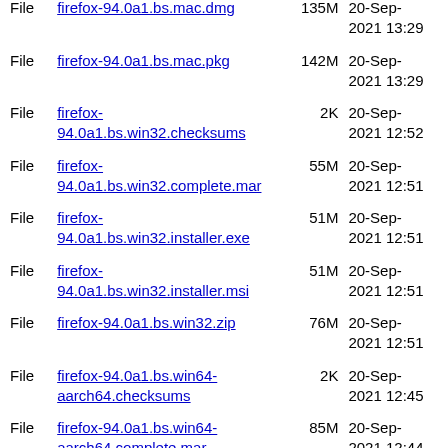| Type | Name | Size | Date |
| --- | --- | --- | --- |
| File | firefox-94.0a1.bs.mac.dmg | 135M | 20-Sep-2021 13:29 |
| File | firefox-94.0a1.bs.mac.pkg | 142M | 20-Sep-2021 13:29 |
| File | firefox-94.0a1.bs.win32.checksums | 2K | 20-Sep-2021 12:52 |
| File | firefox-94.0a1.bs.win32.complete.mar | 55M | 20-Sep-2021 12:51 |
| File | firefox-94.0a1.bs.win32.installer.exe | 51M | 20-Sep-2021 12:51 |
| File | firefox-94.0a1.bs.win32.installer.msi | 51M | 20-Sep-2021 12:51 |
| File | firefox-94.0a1.bs.win32.zip | 76M | 20-Sep-2021 12:51 |
| File | firefox-94.0a1.bs.win64-aarch64.checksums | 2K | 20-Sep-2021 12:45 |
| File | firefox-94.0a1.bs.win64-aarch64.complete.mar | 85M | 20-Sep-2021 12:44 |
| File | firefox-94.0a1.bs.win64-aarch64.installer.exe | 80M | 20-Sep-2021 12:44 |
| File | firefox-94.0a1.bs.win64-aarch64.zip | 120M | 20-Sep-2021 12:44 |
| File | firefox-94.0a1.bs.win64.checksums | 2K | 20-Sep- |